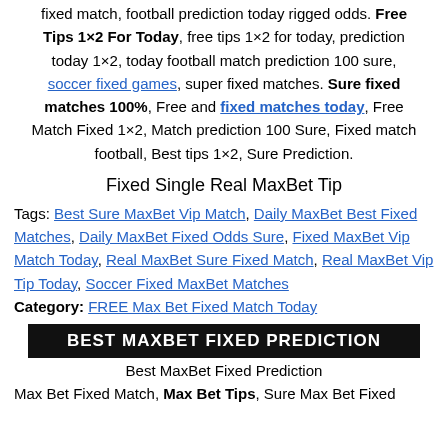fixed match, football prediction today rigged odds. Free Tips 1×2 For Today, free tips 1×2 for today, prediction today 1×2, today football match prediction 100 sure, soccer fixed games, super fixed matches. Sure fixed matches 100%, Free and fixed matches today, Free Match Fixed 1×2, Match prediction 100 Sure, Fixed match football, Best tips 1×2, Sure Prediction.
Fixed Single Real MaxBet Tip
Tags: Best Sure MaxBet Vip Match, Daily MaxBet Best Fixed Matches, Daily MaxBet Fixed Odds Sure, Fixed MaxBet Vip Match Today, Real MaxBet Sure Fixed Match, Real MaxBet Vip Tip Today, Soccer Fixed MaxBet Matches Category: FREE Max Bet Fixed Match Today
[Figure (other): Black banner with white text: BEST MAXBET FIXED PREDICTION]
Best MaxBet Fixed Prediction
Max Bet Fixed Match, Max Bet Tips, Sure Max Bet Fixed